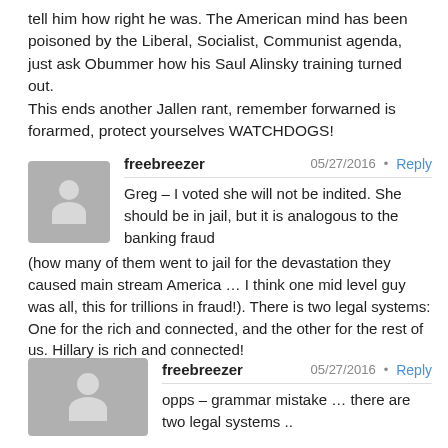tell him how right he was. The American mind has been poisoned by the Liberal, Socialist, Communist agenda, just ask Obummer how his Saul Alinsky training turned out.
This ends another Jallen rant, remember forwarned is forarmed, protect yourselves WATCHDOGS!
freebreezer
05/27/2016 · Reply
Greg – I voted she will not be indited. She should be in jail, but it is analogous to the banking fraud (how many of them went to jail for the devastation they caused main stream America … I think one mid level guy was all, this for trillions in fraud!). There is two legal systems: One for the rich and connected, and the other for the rest of us. Hillary is rich and connected!
freebreezer
05/27/2016 · Reply
opps – grammar mistake … there are two legal systems ..